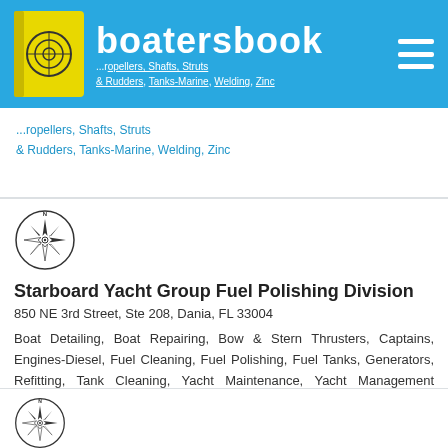boatersbook
...ropellers, Shafts, Struts & Rudders, Tanks-Marine, Welding, Zinc
[Figure (illustration): Compass rose / navigation compass logo]
Starboard Yacht Group Fuel Polishing Division
850 NE 3rd Street, Ste 208, Dania, FL 33004
Boat Detailing, Boat Repairing, Bow & Stern Thrusters, Captains, Engines-Diesel, Fuel Cleaning, Fuel Polishing, Fuel Tanks, Generators, Refitting, Tank Cleaning, Yacht Maintenance, Yacht Management Service
[Figure (illustration): Compass rose / navigation compass logo (partial, bottom card)]